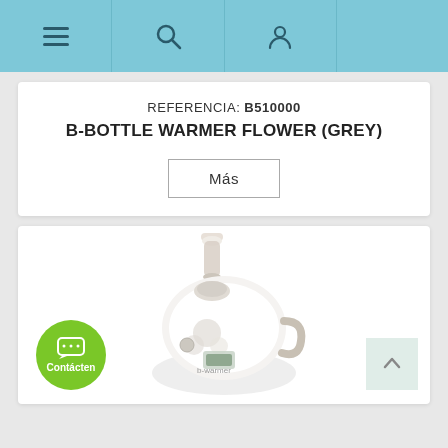Navigation bar with menu, search, and user icons
REFERENCIA: B510000
B-BOTTLE WARMER FLOWER (GREY)
Más
[Figure (photo): B-Bottle Warmer Flower in grey color, a white and grey electronic baby bottle warmer device with digital display, flower-shaped controls, and a baby bottle inserted on top]